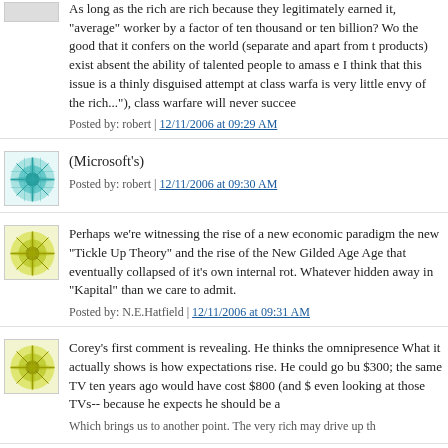As long as the rich are rich because they legitimately earned it, "average" worker by a factor of ten thousand or ten billion? Wo the good that it confers on the world (separate and apart from t products) exist absent the ability of talented people to amass e I think that this issue is a thinly disguised attempt at class warfa is very little envy of the rich..."), class warfare will never succee
Posted by: robert | 12/11/2006 at 09:29 AM
[Figure (illustration): Teal/turquoise snowflake or mandala pattern avatar image]
(Microsoft's)
Posted by: robert | 12/11/2006 at 09:30 AM
[Figure (illustration): Yellow-green snowflake or mandala pattern avatar image]
Perhaps we're witnessing the rise of a new economic paradigm the new "Tickle Up Theory" and the rise of the New Gilded Age Age that eventually collapsed of it's own internal rot. Whatever hidden away in "Kapital" than we care to admit.
Posted by: N.E.Hatfield | 12/11/2006 at 09:31 AM
[Figure (illustration): Yellow-green snowflake or mandala pattern avatar image]
Corey's first comment is revealing. He thinks the omnipresence What it actually shows is how expectations rise. He could go bu $300; the same TV ten years ago would have cost $800 (and $ even looking at those TVs-- because he expects he should be a
Which brings us to another point. The very rich may drive up th